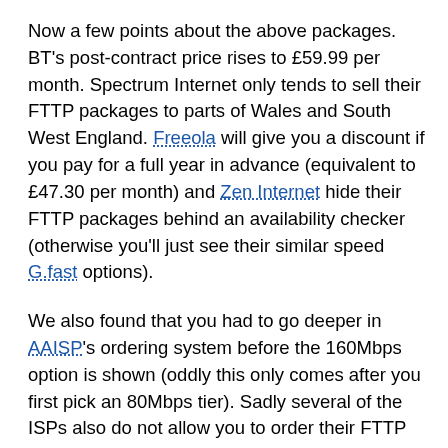Now a few points about the above packages. BT's post-contract price rises to £59.99 per month. Spectrum Internet only tends to sell their FTTP packages to parts of Wales and South West England. Freeola will give you a discount if you pay for a full year in advance (equivalent to £47.30 per month) and Zen Internet hide their FTTP packages behind an availability checker (otherwise you'll just see their similar speed G.fast options).
We also found that you had to go deeper in AAISP's ordering system before the 160Mbps option is shown (oddly this only comes after you first pick an 80Mbps tier). Sadly several of the ISPs also do not allow you to order their FTTP packages online (e.g. Zen Internet)